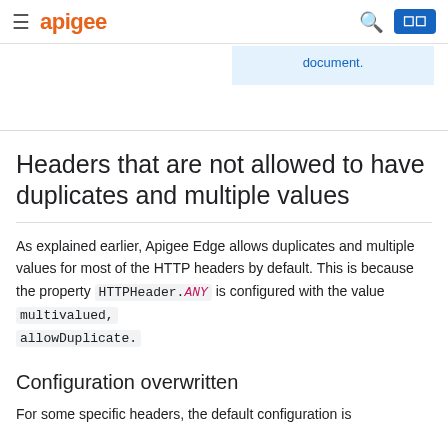apigee
document.
Headers that are not allowed to have duplicates and multiple values
As explained earlier, Apigee Edge allows duplicates and multiple values for most of the HTTP headers by default. This is because the property HTTPHeader.ANY is configured with the value multivalued, allowDuplicate.
Configuration overwritten
For some specific headers, the default configuration is